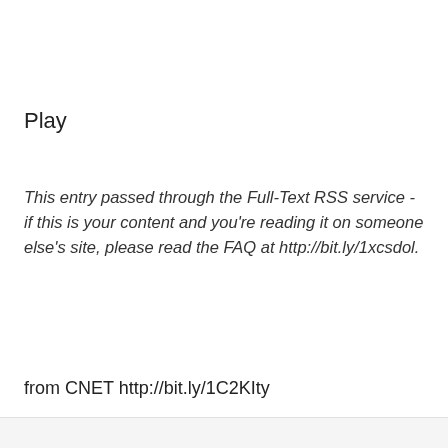Play
This entry passed through the Full-Text RSS service - if this is your content and you're reading it on someone else's site, please read the FAQ at http://bit.ly/1xcsdol.
from CNET http://bit.ly/1C2KIty